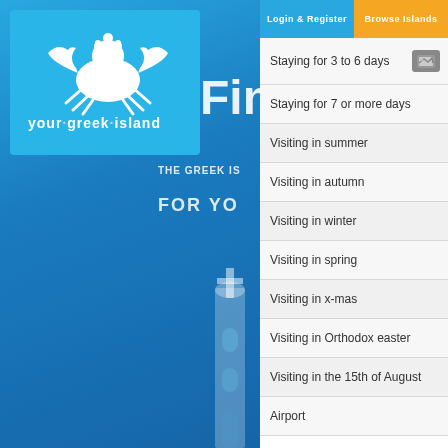[Figure (screenshot): Website screenshot of your-greek-island.com showing a blue-themed travel website with a crab logo, the text 'Find THE GREEK IS FOR YO' overlaid on a blue background with Greek island imagery]
Login & Register
Browse Islands
Staying for 3 to 6 days
Staying for 7 or more days
Visiting in summer
Visiting in autumn
Visiting in winter
Visiting in spring
Visiting in x-mas
Visiting in Orthodox easter
Visiting in the 15th of August
Airport